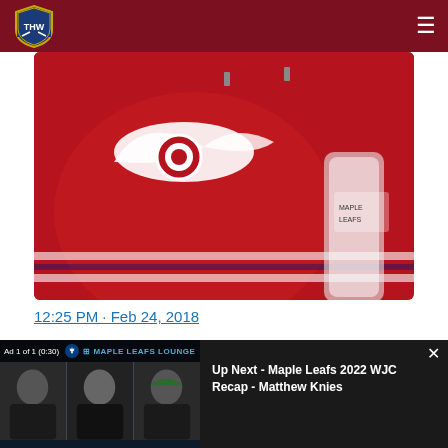THW - The Hockey Writers
[Figure (photo): Detroit Red Wings jersey with winged wheel logo and goalie pads in background]
12:25 PM · Feb 24, 2018
[Figure (screenshot): Video player showing Maple Leafs Lounge ad with three hosts, Up Next - Maple Leafs 2022 WJC Recap - Matthew Knies]
They eventually traded him to the St. Louis Blues in 2003 for a
[Figure (photo): Delectables cat treats advertisement - Treat your cat the best with Delectables cat treats, available at amazon]